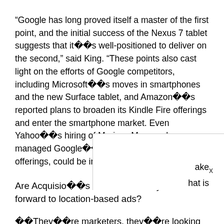“Google has long proved itself a master of the first point, and the initial success of the Nexus 7 tablet suggests that it��s well-positioned to deliver on the second,” said King. “These points also cast light on the efforts of Google competitors, including Microsoft��s moves in smartphones and the new Surface tablet, and Amazon��s reported plans to broaden its Kindle Fire offerings and enter the smartphone market. Even Yahoo��s hiring of Marissa Mayer, who managed Google��s Maps and location-based offerings, could be interpreted as a play here.”
Are Acquisio��s customers ready to move forward to location-based ads?
��They�￾re marketers, they�￾re looking for new opportu… ake some of… hat is